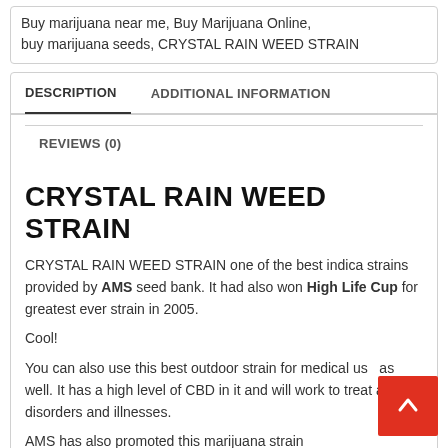Buy marijuana near me, Buy Marijuana Online, buy marijuana seeds, CRYSTAL RAIN WEED STRAIN
DESCRIPTION
ADDITIONAL INFORMATION
REVIEWS (0)
CRYSTAL RAIN WEED STRAIN
CRYSTAL RAIN WEED STRAIN one of the best indica strains provided by AMS seed bank. It had also won High Life Cup for greatest ever strain in 2005.
Cool!
You can also use this best outdoor strain for medical use as well. It has a high level of CBD in it and will work to treat a lot of disorders and illnesses.
AMS has also promoted this marijuana strain...